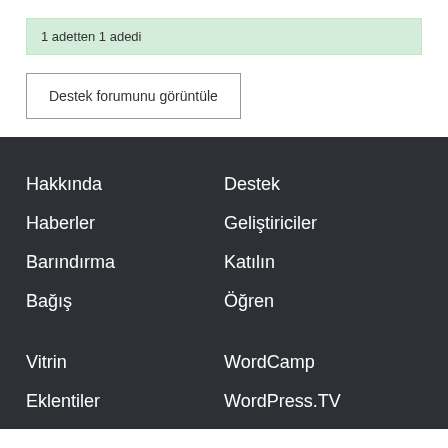1 adetten 1 adedi
Destek forumunu görüntüle
Hakkında
Haberler
Barındırma
Bağış
Destek
Geliştiriciler
Katılın
Öğren
Vitrin
Eklentiler
Temalar
WordCamp
WordPress.TV
BuddyPress